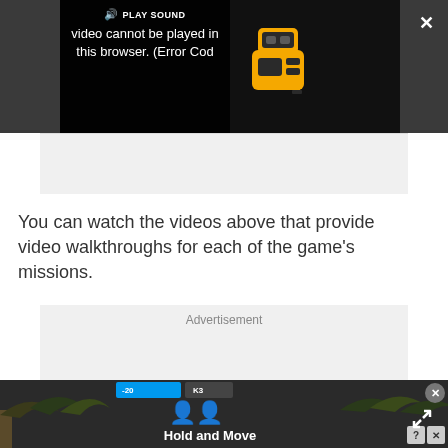[Figure (screenshot): Video player showing error message: 'Video cannot be played in this browser. (Error Cod' with a play sound button and a yellow robot/truck icon. Dark overlay UI with close X and expand icons.]
You can watch the videos above that provide video walkthroughs for each of the game's missions.
[Figure (screenshot): Advertisement placeholder box with label 'Advertisement']
[Figure (screenshot): Bottom banner ad showing 'Hold and Move' text with person figures icon, score display, and close/help buttons]